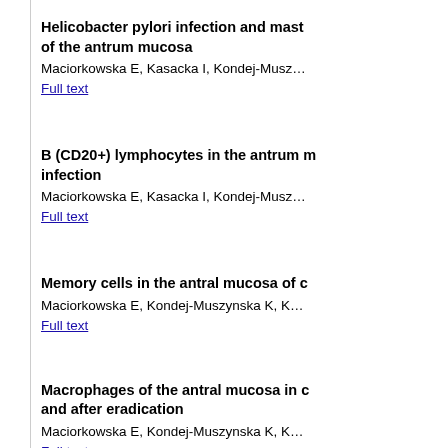Helicobacter pylori infection and mast of the antrum mucosa
Maciorkowska E, Kasacka I, Kondej-Musz…
Full text
B (CD20+) lymphocytes in the antrum m infection
Maciorkowska E, Kasacka I, Kondej-Musz…
Full text
Memory cells in the antral mucosa of c
Maciorkowska E, Kondej-Muszynska K, K…
Full text
Macrophages of the antral mucosa in c and after eradication
Maciorkowska E, Kondej-Muszynska K, K…
Full text